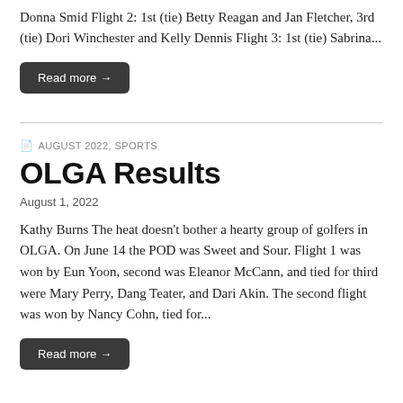Donna Smid Flight 2: 1st (tie) Betty Reagan and Jan Fletcher, 3rd (tie) Dori Winchester and Kelly Dennis Flight 3: 1st (tie) Sabrina...
Read more →
AUGUST 2022, SPORTS
OLGA Results
August 1, 2022
Kathy Burns The heat doesn't bother a hearty group of golfers in OLGA. On June 14 the POD was Sweet and Sour. Flight 1 was won by Eun Yoon, second was Eleanor McCann, and tied for third were Mary Perry, Dang Teater, and Dari Akin. The second flight was won by Nancy Cohn, tied for...
Read more →